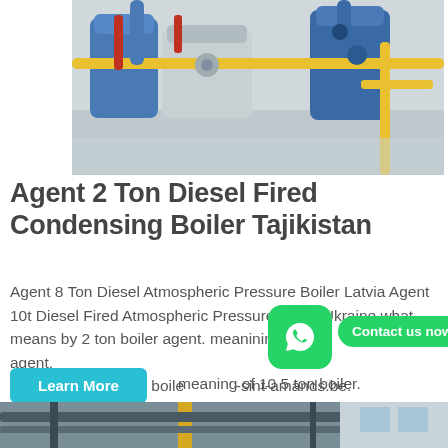[Figure (photo): Industrial boiler room with large blue cylindrical boilers, yellow pipes, and red pipes on a reflective floor]
Agent 2 Ton Diesel Fired Condensing Boiler Tajikistan
Agent 8 Ton Diesel Atmospheric Pressure Boiler Latvia Agent 10t Diesel Fired Atmospheric Pressure Boiler Ukraine what means by 2 ton boiler agent. meanining of 2 ton boiler agent. meaning of 10 5 ton boiler. sint-amands.be. meaning of 10 5 ton boiler.
[Figure (photo): Industrial facility interior with yellow crane beam and structural steel visible]